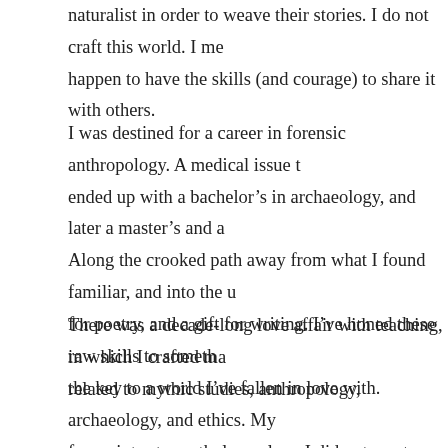naturalist in order to weave their stories. I do not craft this world. I me happen to have the skills (and courage) to share it with others.
I was destined for a career in forensic anthropology. A medical issue t ended up with a bachelor's in archaeology, and later a master's and a Along the crooked path away from what I found familiar, and into the u for poetry, and a gift for writing. I've honed these raw skills to someth the key to a world I've fallen in love with.
There was a decade-long love affair with teaching, in which I crafted ma related to mythic studies, anthropology, archaeology, and ethics. My for an intro to mythology class. I did not want a boring listing such as In tweeted several famous people, authors, actors, and the like, the que a class on mythology if you wanted to be creative. The last person I ev Mark Sheppard (Crowley on Supernatural. His response was 'Bob'. So I the end, I had a class called BoB, a gift from the King of Hell. The full na